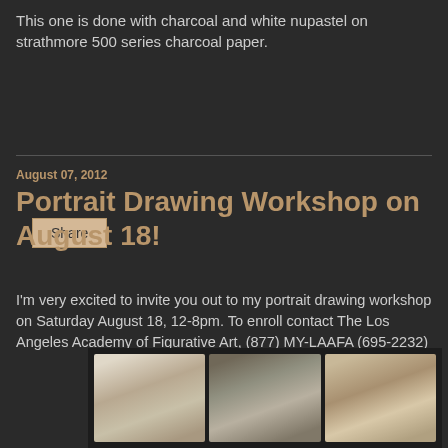This one is done with charcoal and white nupastel on strathmore 500 series charcoal paper.
Share
August 07, 2012
Portrait Drawing Workshop on August 18!
I'm very excited to invite you out to my portrait drawing workshop on Saturday August 18, 12-8pm. To enroll contact The Los Angeles Academy of Figurative Art, (877) MY-LAAFA (695-2232)
[Figure (photo): Three black-and-white portrait drawings/photos of women, shown side by side in a dark-bordered image panel.]